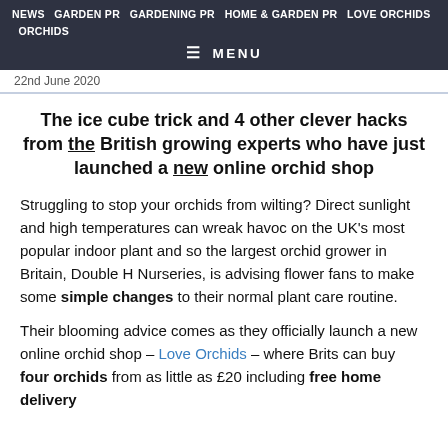NEWS  GARDEN PR  GARDENING PR  HOME & GARDEN PR  LOVE ORCHIDS  ORCHIDS
≡ MENU
22nd June 2020
The ice cube trick and 4 other clever hacks from the British growing experts who have just launched a new online orchid shop
Struggling to stop your orchids from wilting? Direct sunlight and high temperatures can wreak havoc on the UK's most popular indoor plant and so the largest orchid grower in Britain, Double H Nurseries, is advising flower fans to make some simple changes to their normal plant care routine.
Their blooming advice comes as they officially launch a new online orchid shop – Love Orchids – where Brits can buy four orchids from as little as £20 including free home delivery